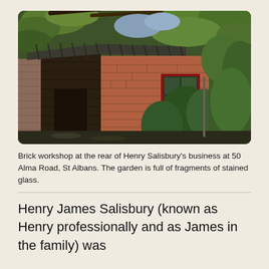[Figure (photo): Photograph of a brick workshop with a corrugated roof and a red-framed window, surrounded by lush green vegetation and trees. Located at the rear of a property, with a wooden fence on the left side.]
Brick workshop at the rear of Henry Salisbury's business at 50 Alma Road, St Albans. The garden is full of fragments of stained glass.
Henry James Salisbury (known as Henry professionally and as James in the family) was traditionally his business as a place for his...